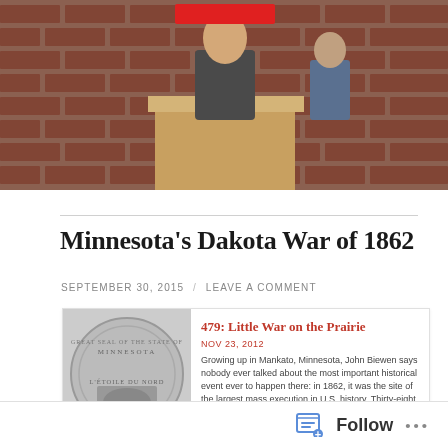[Figure (photo): Person standing at a wooden podium in front of a brick wall background, with a red redacted bar over their face.]
Minnesota's Dakota War of 1862
SEPTEMBER 30, 2015 / LEAVE A COMMENT
[Figure (screenshot): Embedded podcast card: '479: Little War on the Prairie', NOV 23, 2012. Growing up in Mankato, Minnesota, John Biewen says nobody ever talked about the most important historical event ever to happen there: in 1862, it was the site of the largest mass execution in U.S. history. Thirty-eight...]
Follow